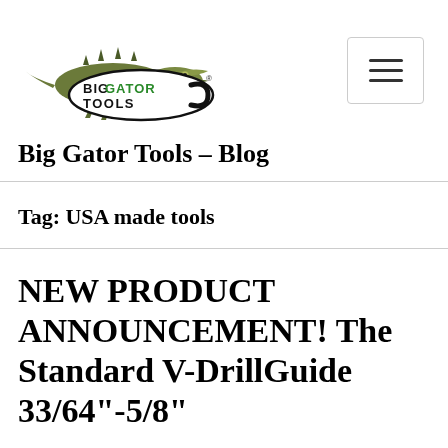[Figure (logo): Big Gator Tools logo with alligator graphic and oval text badge reading 'BIG GATOR TOOLS']
Big Gator Tools – Blog
Tag: USA made tools
NEW PRODUCT ANNOUNCEMENT! The Standard V-DrillGuide 33/64"-5/8"